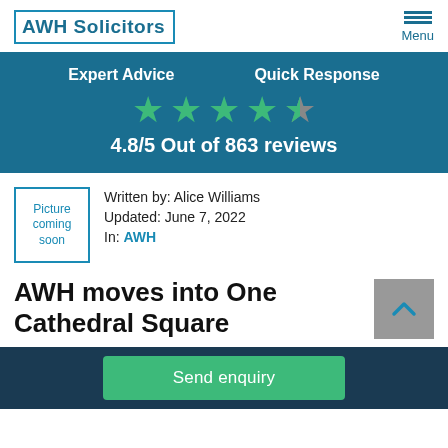AWH Solicitors | Menu
[Figure (infographic): Blue banner showing Expert Advice and Quick Response labels, 4.8/5 star rating out of 863 reviews]
[Figure (photo): Picture coming soon placeholder image box]
Written by: Alice Williams
Updated: June 7, 2022
In: AWH
AWH moves into One Cathedral Square
Send enquiry